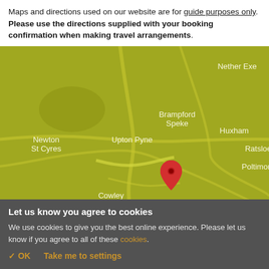Maps and directions used on our website are for guide purposes only. Please use the directions supplied with your booking confirmation when making travel arrangements.
[Figure (map): Google-style map showing areas around Upton Pyne, Devon, UK. Visible place names: Nether Exe, Brampford Speke, Huxham, Ratsloe, Poltimore, Newton St Cyres, Upton Pyne, Cowley. A red location pin is placed near the center of the map.]
Let us know you agree to cookies
We use cookies to give you the best online experience. Please let us know if you agree to all of these cookies.
✓ OK   Take me to settings